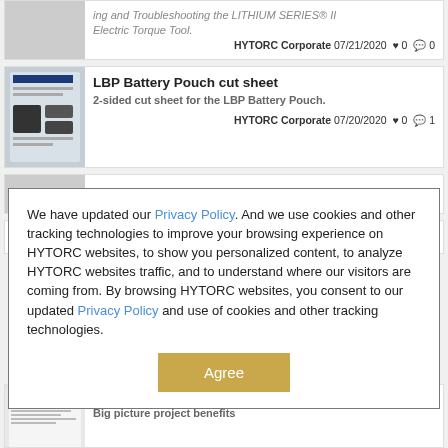ing and Troubleshooting the LITHIUM SERIES® II Electric Torque Tool. HYTORC Corporate 07/21/2020 ♥ 0 💬 0
LBP Battery Pouch cut sheet — 2-sided cut sheet for the LBP Battery Pouch. HYTORC Corporate 07/20/2020 ♥ 0 💬 1
We have updated our Privacy Policy. And we use cookies and other tracking technologies to improve your browsing experience on HYTORC websites, to show you personalized content, to analyze HYTORC websites traffic, and to understand where our visitors are coming from. By browsing HYTORC websites, you consent to our updated Privacy Policy and use of cookies and other tracking technologies.
Agree
HYTORC Washers - Key Benefits — Big picture project benefits